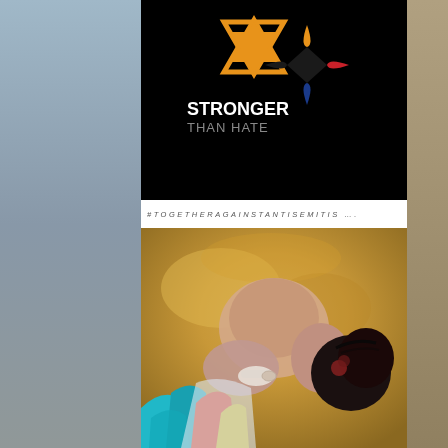[Figure (illustration): Black background image with orange Star of David and text 'STRONGER THAN HATE' alongside a Steelers-style four-pointed diamond logo in orange, red, and blue]
#TOGETHERAGAINSTANTISEMITIS ….
[Figure (illustration): Painting of a person with dark hair bowed down, hands bound with white bandage/rope, upper back exposed, colorful figure at lower left]